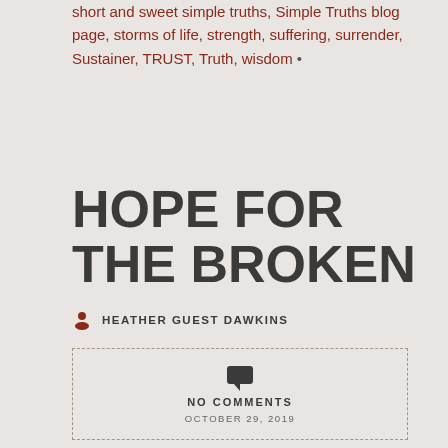short and sweet simple truths, Simple Truths blog page, storms of life, strength, suffering, surrender, Sustainer, TRUST, Truth, wisdom •
HOPE FOR THE BROKEN
HEATHER GUEST DAWKINS
NO COMMENTS
OCTOBER 29, 2019